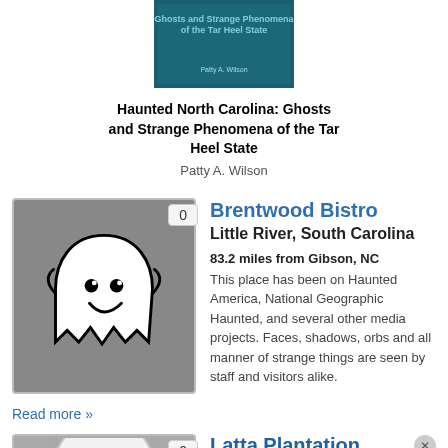[Figure (illustration): Book cover for Haunted North Carolina: Ghosts and Strange Phenomena of the Tar Heel State by Patty A. Wilson, dark teal cover with text]
Haunted North Carolina: Ghosts and Strange Phenomena of the Tar Heel State
Patty A. Wilson
[Figure (illustration): Ghost cartoon icon (white ghost with smiley face on grey background) with count badge showing 0]
Brentwood Bistro
Little River, South Carolina
83.2 miles from Gibson, NC
This place has been on Haunted America, National Geographic Haunted, and several other media projects. Faces, shadows, orbs and all manner of strange things are seen by staff and visitors alike.
Read more »
[Figure (illustration): Partial ghost cartoon icon on grey background with count badge showing 0]
Latta Plantation
Huntersville, North Carolina
85.3 miles from Gibson, NC